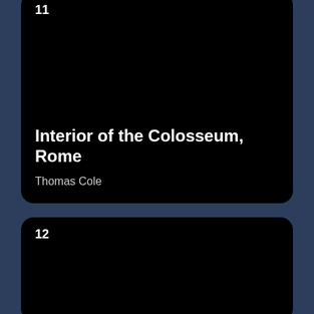[Figure (photo): Card number 11 with black image area, showing artwork entry for Interior of the Colosseum, Rome by Thomas Cole]
Interior of the Colosseum, Rome
Thomas Cole
[Figure (photo): Card number 12 with black image area, partially visible at bottom of page]